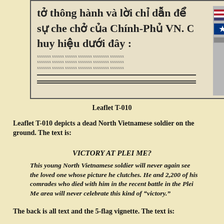[Figure (photo): Scanned image of a Vietnamese-language leaflet with bold text in Vietnamese and flag imagery on the right side. Lines visible at bottom of image.]
Leaflet T-010
Leaflet T-010 depicts a dead North Vietnamese soldier on the ground. The text is:
VICTORY AT PLEI ME?
This young North Vietnamese soldier will never again see the loved one whose picture he clutches. He and 2,200 of his comrades who died with him in the recent battle in the Plei Me area will never celebrate this kind of “victory.”
The back is all text and the 5-flag vignette. The text is: